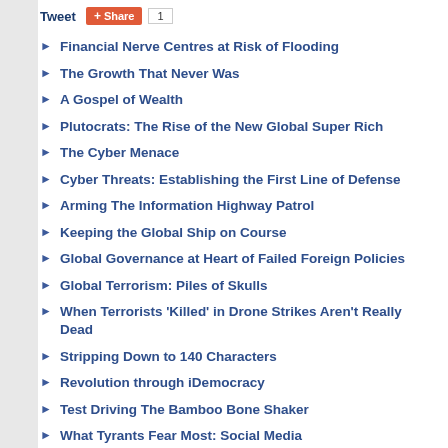Tweet  Share  1
Financial Nerve Centres at Risk of Flooding
The Growth That Never Was
A Gospel of Wealth
Plutocrats: The Rise of the New Global Super Rich
The Cyber Menace
Cyber Threats: Establishing the First Line of Defense
Arming The Information Highway Patrol
Keeping the Global Ship on Course
Global Governance at Heart of Failed Foreign Policies
Global Terrorism: Piles of Skulls
When Terrorists 'Killed' in Drone Strikes Aren't Really Dead
Stripping Down to 140 Characters
Revolution through iDemocracy
Test Driving The Bamboo Bone Shaker
What Tyrants Fear Most: Social Media
Dambisa Moyo: 'Winner Take All'